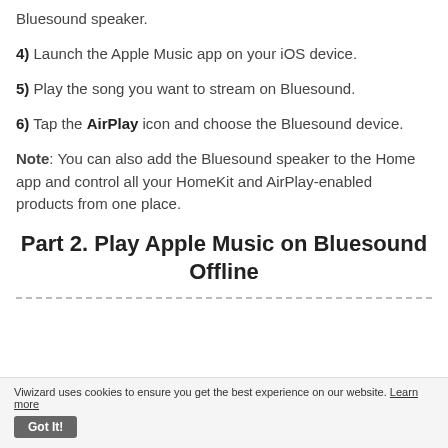Bluesound speaker.
4) Launch the Apple Music app on your iOS device.
5) Play the song you want to stream on Bluesound.
6) Tap the AirPlay icon and choose the Bluesound device.
Note: You can also add the Bluesound speaker to the Home app and control all your HomeKit and AirPlay-enabled products from one place.
Part 2. Play Apple Music on Bluesound Offline
Viwizard uses cookies to ensure you get the best experience on our website. Learn more